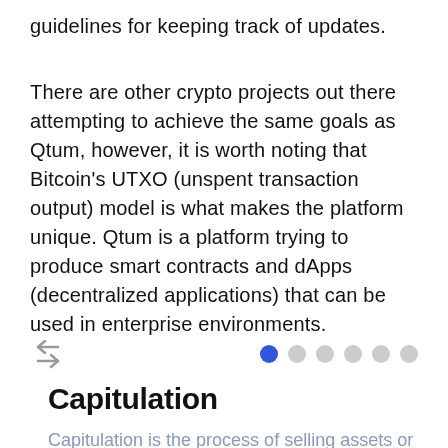guidelines for keeping track of updates.
There are other crypto projects out there attempting to achieve the same goals as Qtum, however, it is worth noting that Bitcoin's UTXO (unspent transaction output) model is what makes the platform unique. Qtum is a platform trying to produce smart contracts and dApps (decentralized applications) that can be used in enterprise environments.
[Figure (other): Navigation arrows (back/forward) on the left and pagination dots on the right. The first dot is blue/active, the remaining five are grey.]
Capitulation
Capitulation is the process of selling assets or